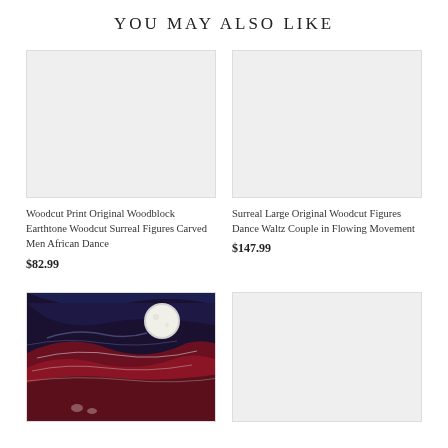YOU MAY ALSO LIKE
[Figure (photo): Empty light gray product image placeholder for first product]
Woodcut Print Original Woodblock Earthtone Woodcut Surreal Figures Carved Men African Dance
$82.99
[Figure (photo): Empty light gray product image placeholder for second product]
Surreal Large Original Woodcut Figures Dance Waltz Couple in Flowing Movement
$147.99
[Figure (photo): Dark woodcut artwork showing a moonlit landscape scene with swirling red, blue and white waves and figures, large white moon visible]
[Figure (photo): Empty light gray product image placeholder for fourth product]